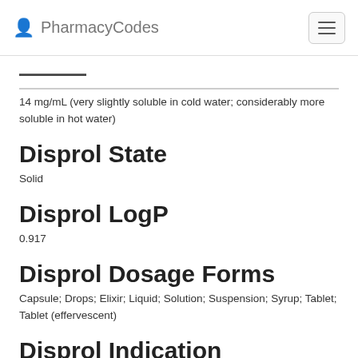PharmacyCodes
14 mg/mL (very slightly soluble in cold water; considerably more soluble in hot water)
Disprol State
Solid
Disprol LogP
0.917
Disprol Dosage Forms
Capsule; Drops; Elixir; Liquid; Solution; Suspension; Syrup; Tablet; Tablet (effervescent)
Disprol Indication
For temporary relief of fever and minor aches and pains